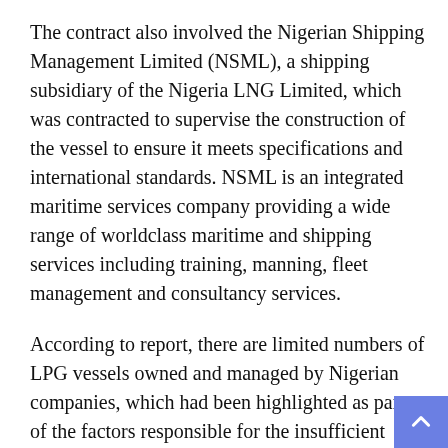The contract also involved the Nigerian Shipping Management Limited (NSML), a shipping subsidiary of the Nigeria LNG Limited, which was contracted to supervise the construction of the vessel to ensure it meets specifications and international standards. NSML is an integrated maritime services company providing a wide range of worldclass maritime and shipping services including training, manning, fleet management and consultancy services.
According to report, there are limited numbers of LPG vessels owned and managed by Nigerian companies, which had been highlighted as part of the factors responsible for the insufficient supply of the LPG product to domestic market.
Based on this development, Nigeria's LPG market is set to witness a positive growth opportunities as this